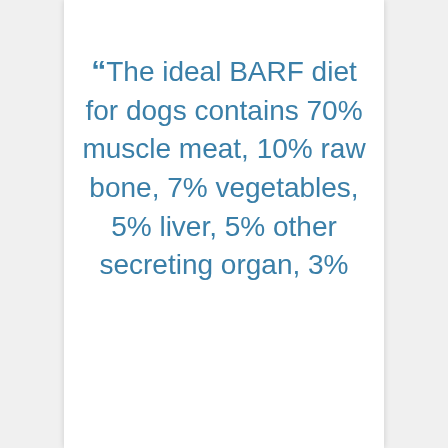“The ideal BARF diet for dogs contains 70% muscle meat, 10% raw bone, 7% vegetables, 5% liver, 5% other secreting organ, 3%...